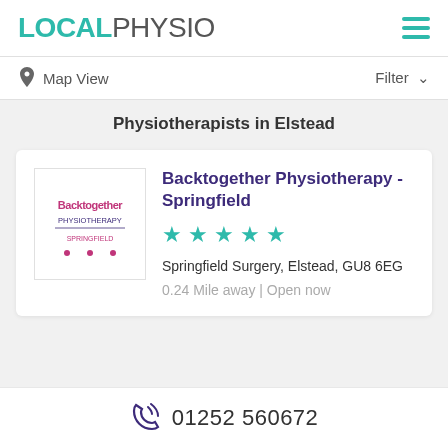LOCAL PHYSIO
Map View | Filter
Physiotherapists in Elstead
Backtogether Physiotherapy - Springfield
★★★★★
Springfield Surgery, Elstead, GU8 6EG
0.24 Mile away | Open now
01252 560672